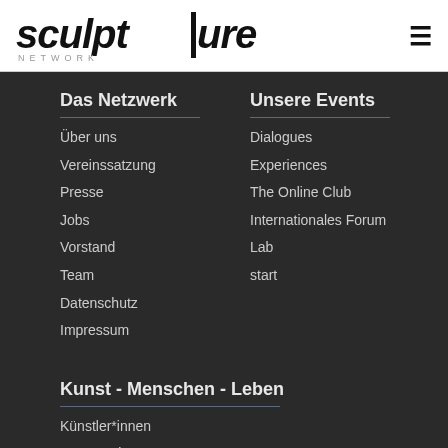[Figure (logo): sculpture NETWORK logo with stylized text and a vertical bar in the middle]
≡
Das Netzwerk
Über uns
Vereinssatzung
Presse
Jobs
Vorstand
Team
Datenschutz
Impressum
Unsere Events
Dialogues
Experiences
The Online Club
Internationales Forum
Lab
start
Kunst - Menschen - Leben
Künstler*innen
Kunstwerke